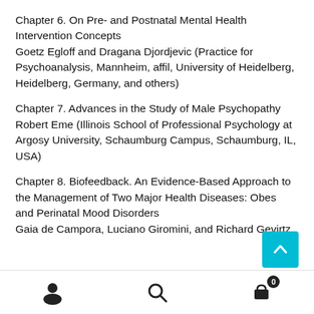Chapter 6. On Pre- and Postnatal Mental Health Intervention Concepts
Goetz Egloff and Dragana Djordjevic (Practice for Psychoanalysis, Mannheim, affil, University of Heidelberg, Heidelberg, Germany, and others)
Chapter 7. Advances in the Study of Male Psychopathy
Robert Eme (Illinois School of Professional Psychology at Argosy University, Schaumburg Campus, Schaumburg, IL, USA)
Chapter 8. Biofeedback. An Evidence-Based Approach to the Management of Two Major Health Diseases: Obesity and Perinatal Mood Disorders
Gaia de Campora, Luciano Giromini, and Richard Gevirtz